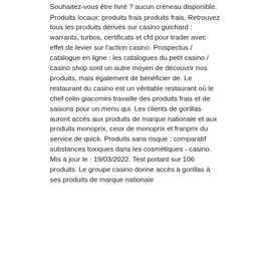Souhaitez-vous être livré ? aucun créneau disponible. Produits locaux; produits frais produits frais. Retrouvez tous les produits dérivés sur casino guichard : warrants, turbos, certificats et cfd pour trader avec effet de levier sur l'action casino. Prospectus / catalogue en ligne : les catalogues du petit casino / casino shop sont un autre moyen de découvrir nos produits, mais également de bénéficier de. Le restaurant du casino est un véritable restaurant où le chef colin giacomini travaille des produits frais et de saisons pour un menu qui. Les clients de gorillas auront accès aux produits de marque nationale et aux produits monoprix, ceux de monoprix et franprix du service de quick. Produits sans risque : comparatif substances toxiques dans les cosmétiques - casino. Mis à jour le : 19/03/2022. Test portant sur 106 produits. Le groupe casino donne accès à gorillas à ses produits de marque nationale